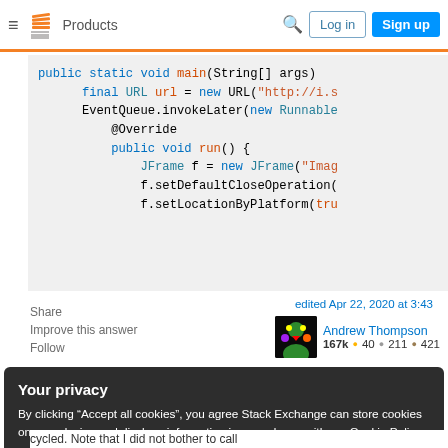≡  [logo] Products  🔍  Log in  Sign up
[Figure (screenshot): Java code block showing public static void main method with URL, EventQueue.invokeLater, Runnable, @Override, public void run(), JFrame instantiation, setDefaultCloseOperation, setLocationByPlatform calls]
Share
Improve this answer
Follow
edited Apr 22, 2020 at 3:43
Andrew Thompson
167k ● 40 ● 211 ● 421
Your privacy
By clicking "Accept all cookies", you agree Stack Exchange can store cookies on your device and disclose information in accordance with our Cookie Policy.
Accept all cookies
Customize settings
cycled. Note that I did not bother to call